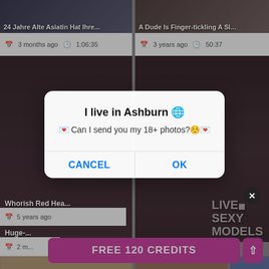[Figure (screenshot): Screenshot of an adult video website showing thumbnail grid with video titles and metadata, overlaid by a browser dialog popup saying 'I live in Ashburn' with Cancel and OK buttons, and a 'FREE 120 CREDITS' button at the bottom from a live cam site.]
24 Jahre Alte Asiatin Hat Ihre...
A Dude Is Finger-tickling A Sl...
3 months ago   1:06:35
3 years ago   50:37
Whorish Red Hea...
5 years ago
LIVE // SEXY MODELS
I live in Ashburn 🌐
💌 Can I send you my 18+ photos?©️💌
CANCEL
OK
FREE 120 CREDITS